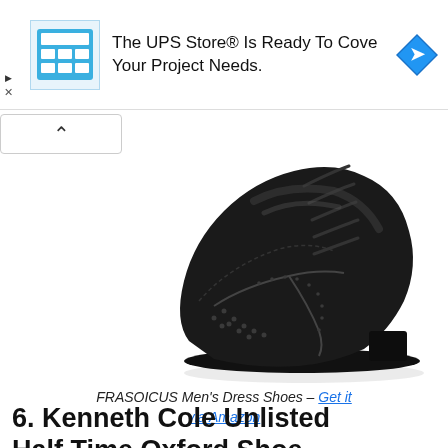[Figure (screenshot): Advertisement banner for The UPS Store with a blue store graphic icon and a teal navigation arrow diamond icon. Text reads: The UPS Store® Is Ready To Cover Your Project Needs.]
[Figure (photo): Black leather wingtip brogue Oxford dress shoe (FRASOICUS Men's Dress Shoes) photographed on white background, viewed from a 3/4 front-left angle showing laces, perforated broguing details along the toe cap and side, and a thick rubber outsole.]
FRASOICUS Men's Dress Shoes – Get it via Amazon
6. Kenneth Cole Unlisted Half Time Oxford Shoe